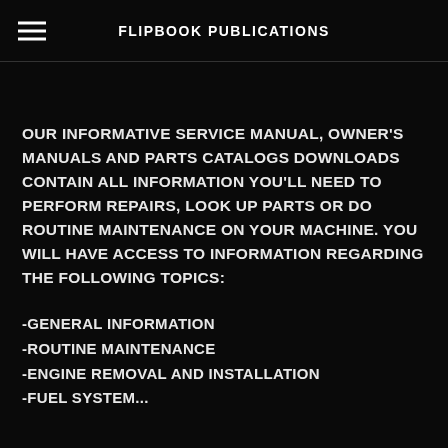FLIPBOOK PUBLICATIONS
OUR INFORMATIVE SERVICE MANUAL, OWNER'S MANUALS AND PARTS CATALOGS DOWNLOADS CONTAIN ALL INFORMATION YOU'LL NEED TO PERFORM REPAIRS, LOOK UP PARTS OR DO ROUTINE MAINTENANCE ON YOUR MACHINE. YOU WILL HAVE ACCESS TO INFORMATION REGARDING THE FOLLOWING TOPICS:
-GENERAL INFORMATION
-ROUTINE MAINTENANCE
-ENGINE REMOVAL AND INSTALLATION
-FUEL SYSTEM